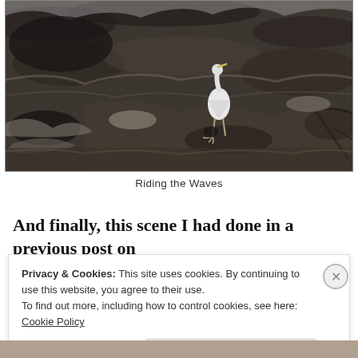[Figure (photo): Black and white photograph of a white egret/heron bird standing in turbulent, rippling water/waves]
Riding the Waves
And finally, this scene I had done in a previous post on
Privacy & Cookies: This site uses cookies. By continuing to use this website, you agree to their use.
To find out more, including how to control cookies, see here: Cookie Policy
Close and accept